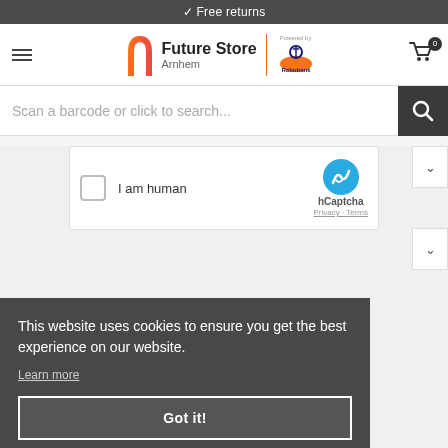✓ Free returns
[Figure (logo): Future Store Arnhem logo with colorful arch icon, vertical orange divider, and Rabobank powered-by logo]
Scan a barcode or click to search...
[Figure (screenshot): hCaptcha widget with checkbox, 'I am human' label, hCaptcha logo with Privacy - Terms links]
This website uses cookies to ensure you get the best experience on our website.
Learn more
Got it!